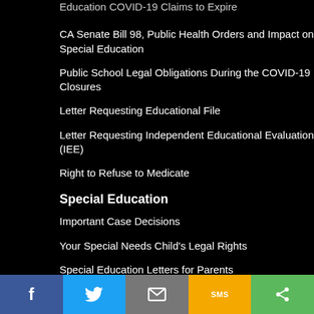Education COVID-19 Claims to Expire
CA Senate Bill 98, Public Health Orders and Impact on Special Education
Public School Legal Obligations During the COVID-19 Closures
Letter Requesting Educational File
Letter Requesting Independent Educational Evaluation (IEE)
Right to Refuse to Medicate
Special Education
Important Case Decisions
Your Special Needs Child's Legal Rights
Special Education Letters for Parents
Due Process Hearing Decision
f  Twitter  Email  SMS  Share